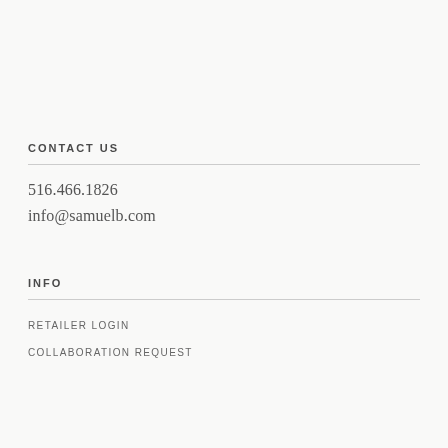CONTACT US
516.466.1826
info@samuelb.com
INFO
RETAILER LOGIN
COLLABORATION REQUEST